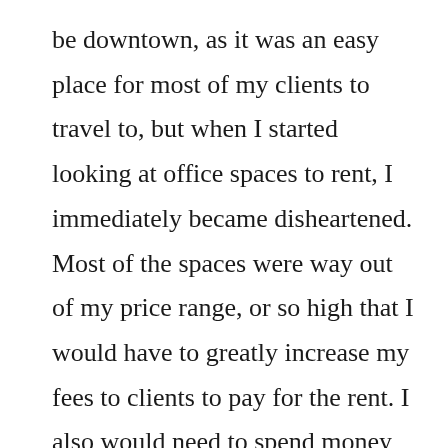be downtown, as it was an easy place for most of my clients to travel to, but when I started looking at office spaces to rent, I immediately became disheartened. Most of the spaces were way out of my price range, or so high that I would have to greatly increase my fees to clients to pay for the rent. I also would need to spend money renovating the space to make it feel more like a therapist’s office. Additionally, the main front lobby looked more like it belonged to a hedge fund